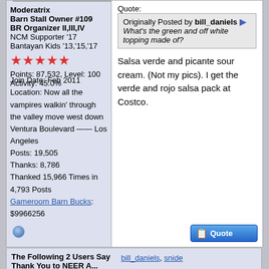Moderatrix
Barn Stall Owner #109
BR Organizer II,III,IV
NCM Supporter '17
Bantayan Kids '13,'15,'17
[Figure (illustration): Five red star rating icons]
Points: 87,532, Level: 100
Activity: 45.0%
Join Date: Feb 2011
Location: Now all the vampires walkin' through the valley move west down Ventura Boulevard —— Los Angeles
Posts: 19,505
Thanks: 8,786
Thanked 15,966 Times in 4,793 Posts
Gameroom Barn Bucks: $9966256
Quote:
Originally Posted by bill_daniels
What's the green and off white topping made of?
Salsa verde and picante sour cream. (Not my pics). I get the verde and rojo salsa pack at Costco.
The Following 2 Users Say Thank You to NEER A...
bill_daniels, snide